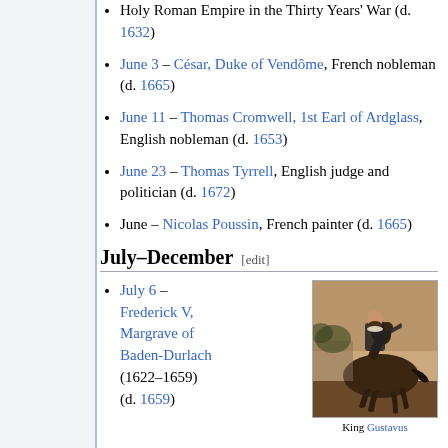Holy Roman Empire in the Thirty Years' War (d. 1632)
June 3 – César, Duke of Vendôme, French nobleman (d. 1665)
June 11 – Thomas Cromwell, 1st Earl of Ardglass, English nobleman (d. 1653)
June 23 – Thomas Tyrrell, English judge and politician (d. 1672)
June – Nicolas Poussin, French painter (d. 1665)
July–December [edit]
July 6 – Frederick V, Margrave of Baden-Durlach (1622–1659) (d. 1659)
[Figure (photo): Painting of King Gustavus on horseback, equestrian portrait]
King Gustavus